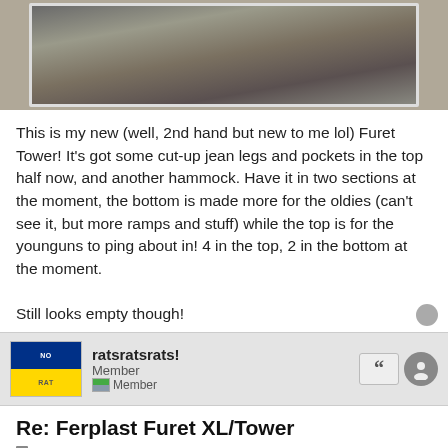[Figure (photo): Top portion of a Furet Tower rat cage, showing a white rectangular cage tray with dark bedding/substrate and what appears to be a water bottle attached.]
This is my new (well, 2nd hand but new to me lol) Furet Tower! It's got some cut-up jean legs and pockets in the top half now, and another hammock. Have it in two sections at the moment, the bottom is made more for the oldies (can't see it, but more ramps and stuff) while the top is for the younguns to ping about in! 4 in the top, 2 in the bottom at the moment.

Still looks empty though!
[Figure (photo): User avatar showing Ukrainian flag (blue top half, yellow bottom half) with text NO and RAT on the two halves.]
ratsratsrats!
Member
Member
Re: Ferplast Furet XL/Tower
Sat Jun 26, 2010 5:49 pm
[Figure (photo): Broken image placeholder labeled 'Image' with orange underline link styling.]